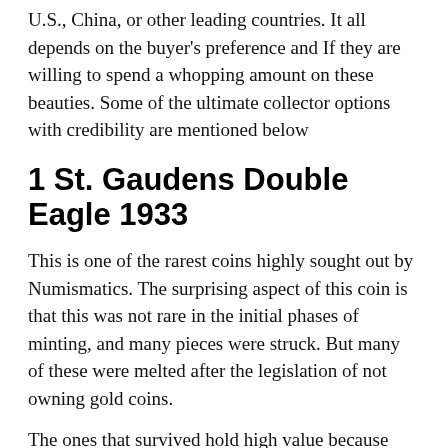U.S., China, or other leading countries. It all depends on the buyer's preference and If they are willing to spend a whopping amount on these beauties. Some of the ultimate collector options with credibility are mentioned below
1 St. Gaudens Double Eagle 1933
This is one of the rarest coins highly sought out by Numismatics. The surprising aspect of this coin is that this was not rare in the initial phases of minting, and many pieces were struck. But many of these were melted after the legislation of not owning gold coins.
The ones that survived hold high value because people think that this is one of the most beautiful coins ever made. This coin was sold privately in 2002 for a shocking $7.6 Million. Experts inquire about the credibility of this coin by gauging the luster.